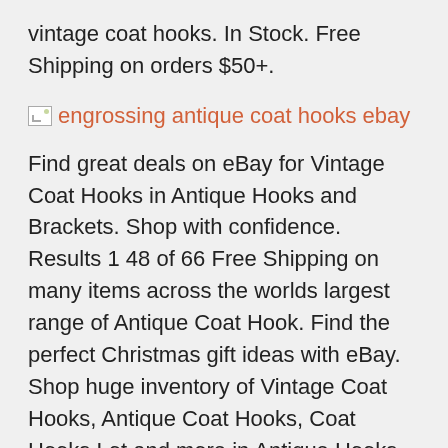vintage coat hooks. In Stock. Free Shipping on orders $50+.
[Figure (other): Broken/missing image placeholder with alt text: engrossing antique coat hooks ebay]
Find great deals on eBay for Vintage Coat Hooks in Antique Hooks and Brackets. Shop with confidence. Results 1 48 of 66 Free Shipping on many items across the worlds largest range of Antique Coat Hook. Find the perfect Christmas gift ideas with eBay. Shop huge inventory of Vintage Coat Hooks, Antique Coat Hooks, Coat Hooks Lot and more in Antique Hooks and Brackets on eBay. Find great deals and get. Here are some pictures of the antique dollhouses I am selling at the Rhoads auction in May 2016. The upstairs hallway has a Schweizer sewing machine I bought on ebay years . I painted htem black and added bars made from coat hangers. What an engrossing yet frustrating house that